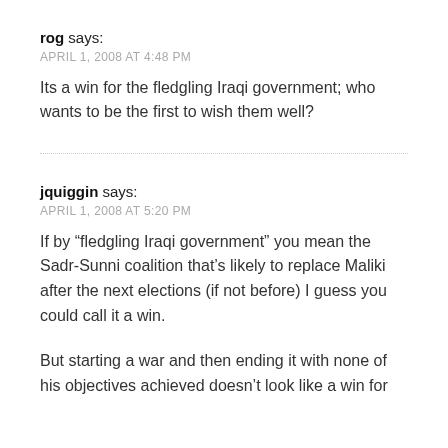rog says:
APRIL 1, 2008 AT 4:48 PM
Its a win for the fledgling Iraqi government; who wants to be the first to wish them well?
jquiggin says:
APRIL 1, 2008 AT 5:20 PM
If by “fledgling Iraqi government” you mean the Sadr-Sunni coalition that’s likely to replace Maliki after the next elections (if not before) I guess you could call it a win.
But starting a war and then ending it with none of his objectives achieved doesn’t look like a win for